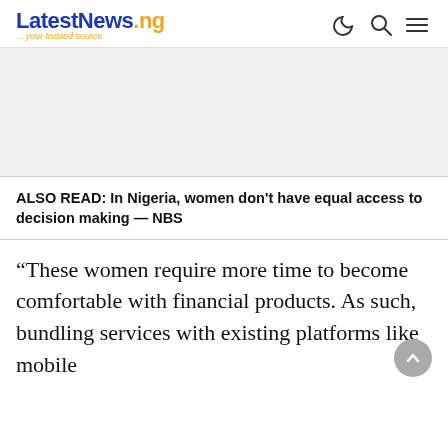LatestNews.ng ...your trusted source
[Figure (other): Advertisement/banner placeholder area with light gray background]
ALSO READ: In Nigeria, women don't have equal access to decision making — NBS
“These women require more time to become comfortable with financial products. As such, bundling services with existing platforms like mobile banking, then i...